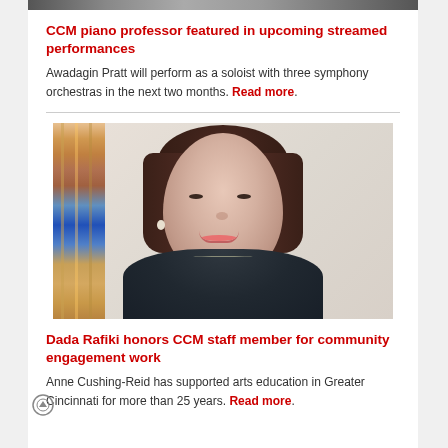[Figure (photo): Top cropped photo strip of person(s) partially visible at top of page]
CCM piano professor featured in upcoming streamed performances
Awadagin Pratt will perform as a soloist with three symphony orchestras in the next two months. Read more.
[Figure (photo): Portrait photo of a woman with short dark brown hair and a black turtleneck sweater, smiling, standing in front of colorful abstract art panels]
Dada Rafiki honors CCM staff member for community engagement work
Anne Cushing-Reid has supported arts education in Greater Cincinnati for more than 25 years. Read more.